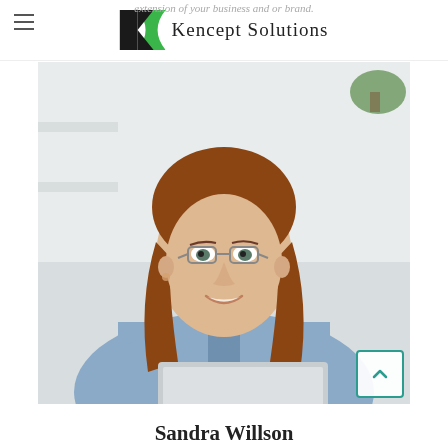extension of your business and or brand.
[Figure (logo): Kencept Solutions logo with stylized green and black K shape and text 'Kencept Solutions']
[Figure (photo): Young professional woman with glasses and long brown hair, wearing a light blue shirt, smiling, working on a laptop in an office setting]
Sandra Willson